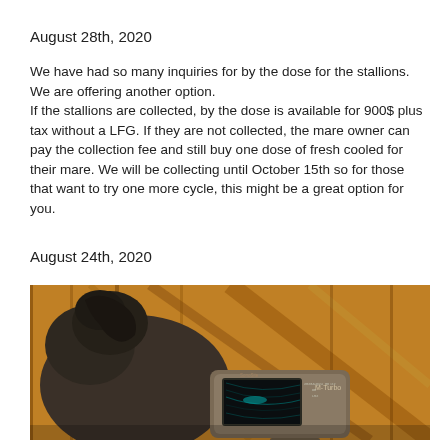August 28th, 2020
We have had so many inquiries for by the dose for the stallions. We are offering another option.
If the stallions are collected, by the dose is available for 900$ plus tax without a LFG. If they are not collected, the mare owner can pay the collection fee and still buy one dose of fresh cooled for their mare. We will be collecting until October 15th so for those that want to try one more cycle, this might be a great option for you.
August 24th, 2020
[Figure (photo): A horse viewed from behind in a wooden barn, with an M-Turbo SonoSite ultrasound device visible in the foreground showing an ultrasound image on its screen.]